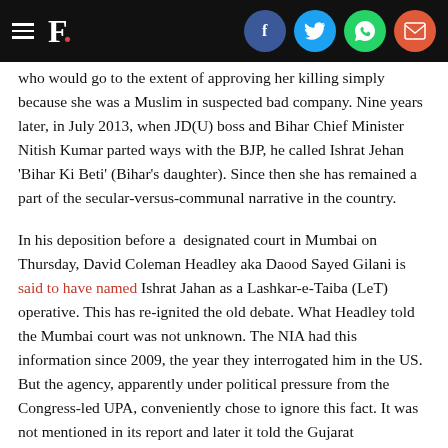F. [with social share icons: Facebook, Twitter, WhatsApp, Email]
who would go to the extent of approving her killing simply because she was a Muslim in suspected bad company. Nine years later, in July 2013, when JD(U) boss and Bihar Chief Minister Nitish Kumar parted ways with the BJP, he called Ishrat Jehan ‘Bihar Ki Beti’ (Bihar’s daughter). Since then she has remained a part of the secular-versus-communal narrative in the country.
In his deposition before a designated court in Mumbai on Thursday, David Coleman Headley aka Daood Sayed Gilani is said to have named Ishrat Jahan as a Lashkar-e-Taiba (LeT) operative. This has re-ignited the old debate. What Headley told the Mumbai court was not unknown. The NIA had this information since 2009, the year they interrogated him in the US. But the agency, apparently under political pressure from the Congress-led UPA, conveniently chose to ignore this fact. It was not mentioned in its report and later it told the Gujarat